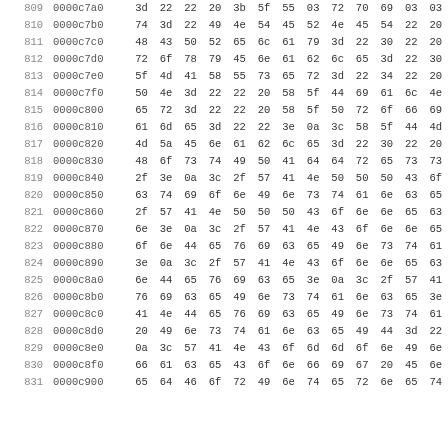| 809 | 0000c7a0 | 3d | 22 | 22 | 20 | 3b | 5f | 55 | 03 | 72 | 70 | 69 | 03 | 03 |
| 810 | 0000c7b0 | 74 | 3d | 22 | 49 | 4e | 54 | 45 | 52 | 4e | 45 | 54 | 22 | 20 |
| 811 | 0000c7c0 | 48 | 43 | 50 | 52 | 65 | 6c | 61 | 79 | 3d | 22 | 30 | 22 | 20 |
| 812 | 0000c7d0 | 72 | 6f | 78 | 79 | 45 | 6e | 61 | 62 | 6c | 65 | 3d | 22 | 30 |
| 813 | 0000c7e0 | 5f | 4d | 41 | 58 | 55 | 73 | 65 | 72 | 3d | 22 | 34 | 22 | 20 |
| 814 | 0000c7f0 | 50 | 4e | 3d | 22 | 22 | 20 | 58 | 5f | 44 | 69 | 61 | 6c | 4e |
| 815 | 0000c800 | 65 | 72 | 3d | 22 | 22 | 20 | 58 | 5f | 50 | 72 | 6f | 66 | 69 |
| 816 | 0000c810 | 61 | 6d | 65 | 3d | 22 | 22 | 3e | 0a | 3c | 58 | 5f | 44 | 4d |
| 817 | 0000c820 | 4d | 5a | 45 | 6e | 61 | 62 | 6c | 65 | 3d | 22 | 30 | 22 | 20 |
| 818 | 0000c830 | 48 | 6f | 73 | 74 | 49 | 50 | 41 | 64 | 64 | 72 | 65 | 73 | 73 |
| 819 | 0000c840 | 2f | 3e | 0a | 3c | 2f | 57 | 41 | 4e | 50 | 50 | 50 | 43 | 6f |
| 820 | 0000c850 | 63 | 74 | 69 | 6f | 6e | 49 | 6e | 73 | 74 | 61 | 6e | 63 | 65 |
| 821 | 0000c860 | 2f | 57 | 41 | 4e | 50 | 50 | 50 | 43 | 6f | 6e | 6e | 65 | 63 |
| 822 | 0000c870 | 6e | 3e | 0a | 3c | 2f | 57 | 41 | 4e | 43 | 6f | 6e | 6e | 65 |
| 823 | 0000c880 | 6f | 6e | 44 | 65 | 76 | 69 | 63 | 65 | 49 | 6e | 73 | 74 | 61 |
| 824 | 0000c890 | 3e | 0a | 3c | 2f | 57 | 41 | 4e | 43 | 6f | 6e | 6e | 65 | 63 |
| 825 | 0000c8a0 | 6e | 44 | 65 | 76 | 69 | 63 | 65 | 3e | 0a | 3c | 2f | 57 | 41 |
| 826 | 0000c8b0 | 76 | 69 | 63 | 65 | 49 | 6e | 73 | 74 | 61 | 6e | 63 | 65 | 3e |
| 827 | 0000c8c0 | 41 | 4e | 44 | 65 | 76 | 69 | 63 | 65 | 49 | 6e | 73 | 74 | 61 |
| 828 | 0000c8d0 | 20 | 49 | 6e | 73 | 74 | 61 | 6e | 63 | 65 | 49 | 44 | 3d | 22 |
| 829 | 0000c8e0 | 0a | 3c | 57 | 41 | 4e | 43 | 6f | 6d | 6d | 6f | 6e | 49 | 6e |
| 830 | 0000c8f0 | 66 | 61 | 63 | 65 | 43 | 6f | 6e | 66 | 69 | 67 | 20 | 45 | 6e |
| 831 | 0000c900 | 65 | 64 | 46 | 6f | 72 | 49 | 6e | 74 | 65 | 72 | 6e | 65 | 74 |